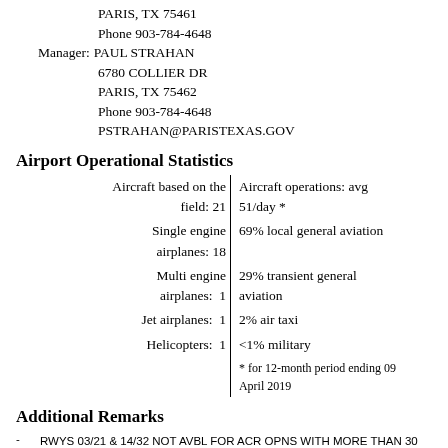PARIS, TX 75461
Phone 903-784-4648
Manager: PAUL STRAHAN
6780 COLLIER DR
PARIS, TX 75462
Phone 903-784-4648
PSTRAHAN@PARISTEXAS.GOV
Airport Operational Statistics
| Left | Right |
| --- | --- |
| Aircraft based on the field: 21 | Aircraft operations: avg 51/day * |
| Single engine airplanes: 18 | 69% local general aviation |
| Multi engine airplanes: 1 | 29% transient general aviation |
| Jet airplanes: 1 | 2% air taxi |
| Helicopters: 1 | <1% military |
|  | * for 12-month period ending 09 April 2019 |
Additional Remarks
RWYS 03/21 & 14/32 NOT AVBL FOR ACR OPNS WITH MORE THAN 30 PSGR SEATS.
TWY LGTS FROM TRML APRON TO RWY 17/35 ON